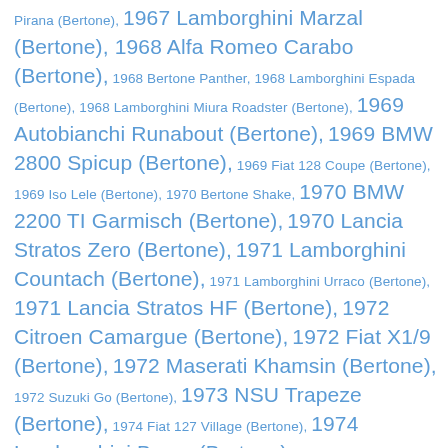Pirana (Bertone), 1967 Lamborghini Marzal (Bertone), 1968 Alfa Romeo Carabo (Bertone), 1968 Bertone Panther, 1968 Lamborghini Espada (Bertone), 1968 Lamborghini Miura Roadster (Bertone), 1969 Autobianchi Runabout (Bertone), 1969 BMW 2800 Spicup (Bertone), 1969 Fiat 128 Coupe (Bertone), 1969 Iso Lele (Bertone), 1970 Bertone Shake, 1970 BMW 2200 TI Garmisch (Bertone), 1970 Lancia Stratos Zero (Bertone), 1971 Lamborghini Countach (Bertone), 1971 Lamborghini Urraco (Bertone), 1971 Lancia Stratos HF (Bertone), 1972 Citroen Camargue (Bertone), 1972 Fiat X1/9 (Bertone), 1972 Maserati Khamsin (Bertone), 1972 Suzuki Go (Bertone), 1973 NSU Trapeze (Bertone), 1974 Fiat 127 Village (Bertone), 1974 Lamborghini Bravo (Bertone), 1974